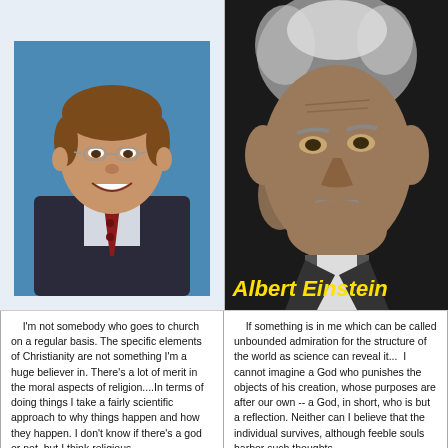[Figure (photo): Portrait photo of Bill Gates smiling, wearing glasses, dark suit and red tie, blue background]
[Figure (photo): Black and white close-up photo of Albert Einstein with 'Albert Einstein' label in yellow italic text at bottom]
I'm not somebody who goes to church on a regular basis. The specific elements of Christianity are not something I'm a huge believer in. There's a lot of merit in the moral aspects of religion....In terms of doing things I take a fairly scientific approach to why things happen and how they happen. I don't know if there's a god or not, but I think religious...
If something is in me which can be called unbounded admiration for the structure of the world as science can reveal it... I cannot imagine a God who punishes the objects of his creation, whose purposes are after our own -- a God, in short, who is but a reflection. Neither can I believe that the individual survives, although feeble souls harbor such thoughts...